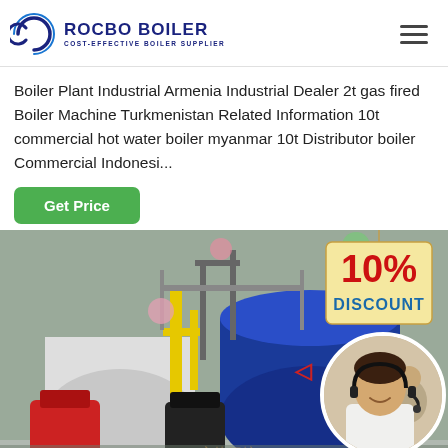Rocbo Boiler - Cost-Effective Boiler Supplier
Boiler Plant Industrial Armenia Industrial Dealer 2t gas fired Boiler Machine Turkmenistan Related Information 10t commercial hot water boiler myanmar 10t Distributor boiler Commercial Indonesi...
[Figure (other): Green 'Get Price' button]
[Figure (photo): Industrial boiler plant with large blue and red boilers, yellow pipes, with a 10% Discount promotional overlay and a circular customer service representative photo in the bottom right corner]